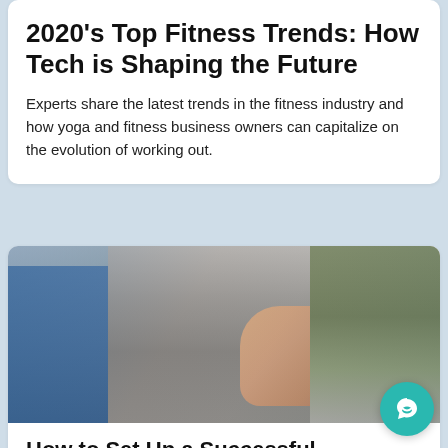2020's Top Fitness Trends: How Tech is Shaping the Future
Experts share the latest trends in the fitness industry and how yoga and fitness business owners can capitalize on the evolution of working out.
[Figure (photo): Photo of people in a yoga or fitness class, person in foreground wearing gray hoodie with hands pressed together in prayer pose, blurred figures in background]
How to Set Up a Successful Donation-Based Fitness Class